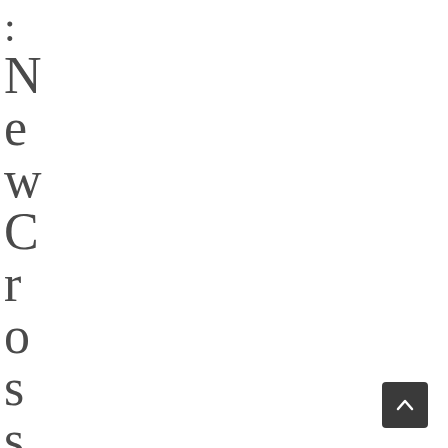: NewCrossLof
[Figure (other): Scroll-to-top button with upward chevron arrow on dark background]